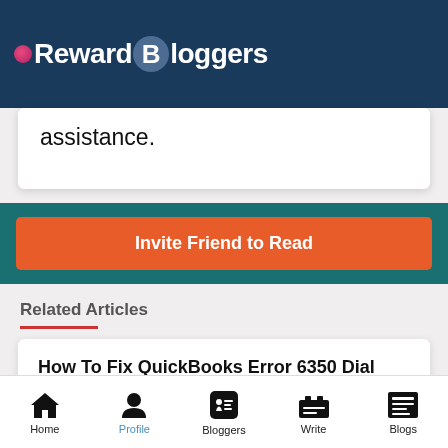Reward Bloggers
assistance.
[Figure (other): Orange 'Invite Friend to Read' button on teal background]
Related Articles
How To Fix QuickBooks Error 6350 Dial 1800-865-4183 Instant
Home | Profile | Bloggers | Write | Blogs